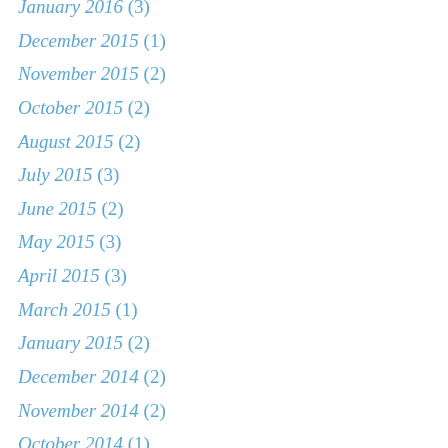January 2016 (3)
December 2015 (1)
November 2015 (2)
October 2015 (2)
August 2015 (2)
July 2015 (3)
June 2015 (2)
May 2015 (3)
April 2015 (3)
March 2015 (1)
January 2015 (2)
December 2014 (2)
November 2014 (2)
October 2014 (1)
September 2014 (6)
August 2014 (2)
July 2014 (2)
June 2014 (5)
May 2014 (3)
April 2014 (5)